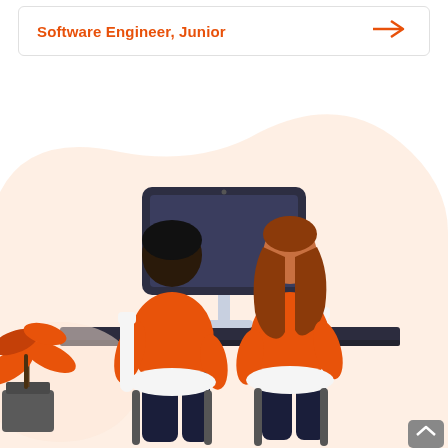Software Engineer, Junior
[Figure (illustration): Two people in orange shirts sitting on white chairs, viewed from behind, looking at a desktop computer monitor on a dark desk. A potted orange plant is visible in the bottom-left corner. The background has a soft peach/cream organic blob shape.]